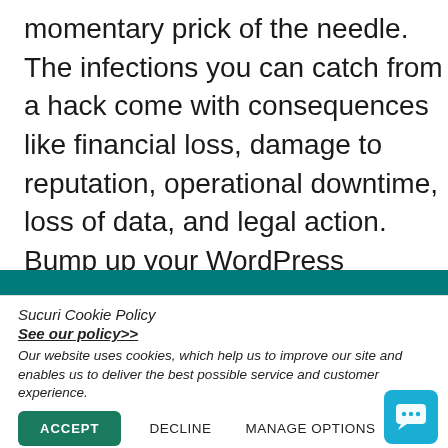momentary prick of the needle. The infections you can catch from a hack come with consequences like financial loss, damage to reputation, operational downtime, loss of data, and legal action. Bump up your WordPress security immune system with these 10 tips and stride into the new year with a healthy productive site.
Sucuri Cookie Policy
See our policy>>
Our website uses cookies, which help us to improve our site and enables us to deliver the best possible service and customer experience.
ACCEPT  DECLINE  MANAGE OPTIONS